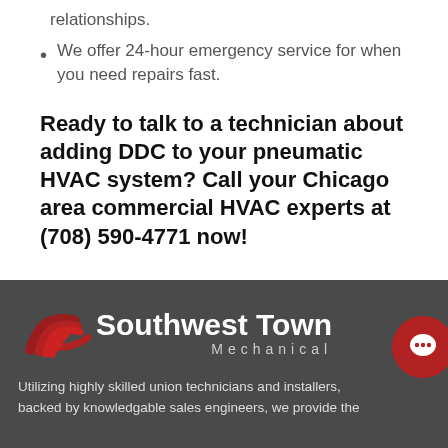relationships.
We offer 24-hour emergency service for when you need repairs fast.
Ready to talk to a technician about adding DDC to your pneumatic HVAC system? Call your Chicago area commercial HVAC experts at (708) 590-4771 now!
[Figure (logo): Southwest Town Mechanical logo with red swoosh graphic and white text on dark gray background, with a red chat bubble icon on the right]
Utilizing highly skilled union technicians and installers backed by knowledgable sales engineers, we provide the